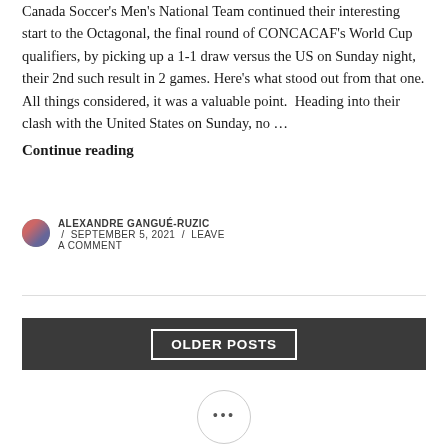Canada Soccer's Men's National Team continued their interesting start to the Octagonal, the final round of CONCACAF's World Cup qualifiers, by picking up a 1-1 draw versus the US on Sunday night, their 2nd such result in 2 games. Here's what stood out from that one. All things considered, it was a valuable point.  Heading into their clash with the United States on Sunday, no … Continue reading
ALEXANDRE GANGUÉ-RUZIC / SEPTEMBER 5, 2021 / LEAVE A COMMENT
OLDER POSTS
[Figure (other): Three dots ellipsis button inside a circle]